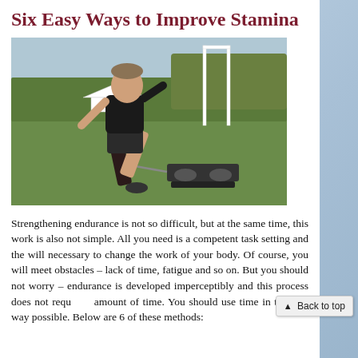Six Easy Ways to Improve Stamina
[Figure (photo): Athlete in black sportswear sprinting and pulling a weighted sled across a grass field, with rugby posts and trees visible in the background.]
Strengthening endurance is not so difficult, but at the same time, this work is also not simple. All you need is a competent task setting and the will necessary to change the work of your body. Of course, you will meet obstacles – lack of time, fatigue and so on. But you should not worry – endurance is developed imperceptibly and this process does not require a large amount of time. You should use time in the best way possible. Below are 6 of these methods: